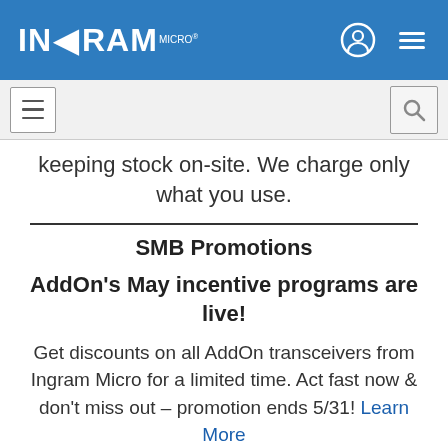INGRAM MICRO
keeping stock on-site. We charge only what you use.
SMB Promotions
AddOn's May incentive programs are live!
Get discounts on all AddOn transceivers from Ingram Micro for a limited time. Act fast now & don't miss out – promotion ends 5/31! Learn More